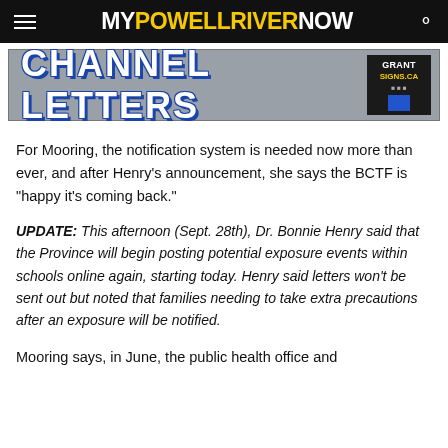MY POWELL RIVER NOW
[Figure (illustration): Channel Letters banner advertisement with Grant Signs CA logo]
For Mooring, the notification system is needed now more than ever, and after Henry’s announcement, she says the BCTF is “happy it’s coming back.”
UPDATE: This afternoon (Sept. 28th), Dr. Bonnie Henry said that the Province will begin posting potential exposure events within schools online again, starting today. Henry said letters won’t be sent out but noted that families needing to take extra precautions after an exposure will be notified.
Mooring says, in June, the public health office and